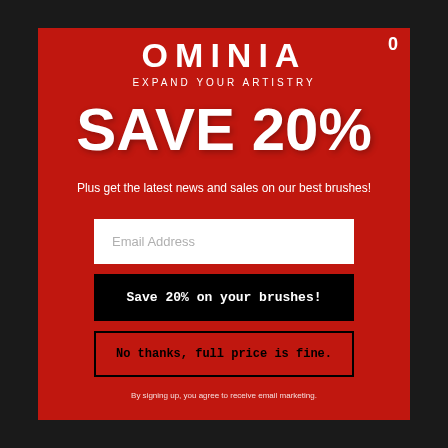OMINIA
EXPAND YOUR ARTISTRY
SAVE 20%
Plus get the latest news and sales on our best brushes!
Email Address
Save 20% on your brushes!
No thanks, full price is fine.
By signing up, you agree to receive email marketing.